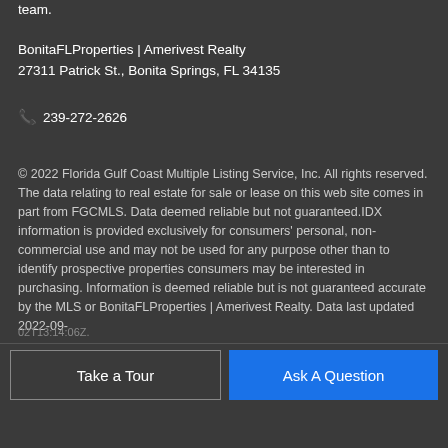team.
BonitaFLProperties | Amerivest Realty
27311 Patrick St., Bonita Springs, FL 34135
📞 239-272-2626
© 2022 Florida Gulf Coast Multiple Listing Service, Inc. All rights reserved. The data relating to real estate for sale or lease on this web site comes in part from FGCMLS. Data deemed reliable but not guaranteed.IDX information is provided exclusively for consumers' personal, non-commercial use and may not be used for any purpose other than to identify prospective properties consumers may be interested in purchasing. Information is deemed reliable but is not guaranteed accurate by the MLS or BonitaFLProperties | Amerivest Realty. Data last updated 2022-09-
Take a Tour
Ask A Question